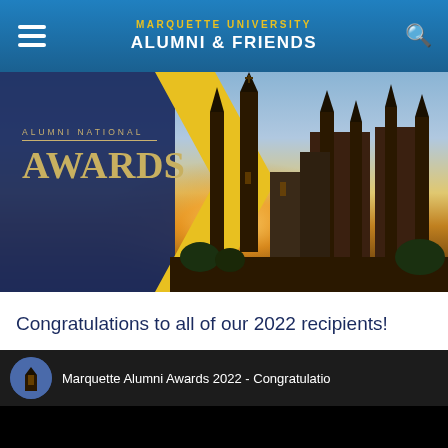MARQUETTE UNIVERSITY ALUMNI & FRIENDS
[Figure (photo): Hero banner showing Marquette University church/building with Alumni National Awards text overlay and yellow chevron graphic]
Congratulations to all of our 2022 recipients!
[Figure (screenshot): YouTube video embed thumbnail showing Marquette Alumni Awards 2022 - Congratulations video with church tower icon]